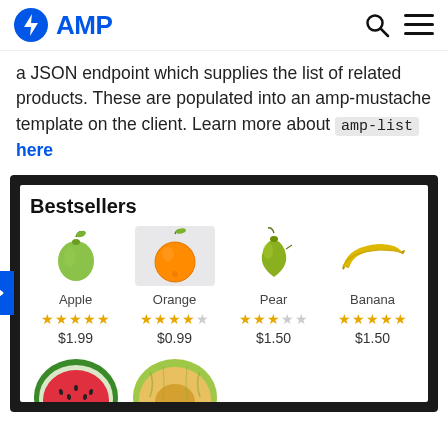AMP
a JSON endpoint which supplies the list of related products. These are populated into an amp-mustache template on the client. Learn more about amp-list here
[Figure (screenshot): Bestsellers product listing showing Apple ($1.99, 5 stars), Orange ($0.99, 4 stars), Pear ($1.50, 3 stars), Banana ($1.50, 5 stars) with fruit images and star ratings, plus partial images of watermelon and melon at bottom]